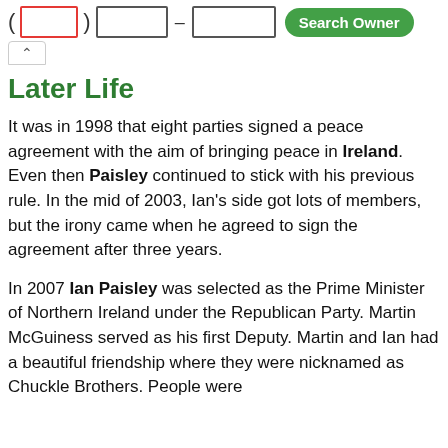Search form with phone number fields and Search Owner button
Later Life
It was in 1998 that eight parties signed a peace agreement with the aim of bringing peace in Ireland. Even then Paisley continued to stick with his previous rule. In the mid of 2003, Ian’s side got lots of members, but the irony came when he agreed to sign the agreement after three years.
In 2007 Ian Paisley was selected as the Prime Minister of Northern Ireland under the Republican Party. Martin McGuiness served as his first Deputy. Martin and Ian had a beautiful friendship where they were nicknamed as Chuckle Brothers. People were